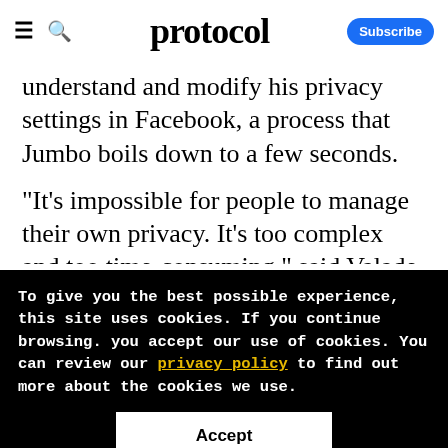protocol — Subscribe
understand and modify his privacy settings in Facebook, a process that Jumbo boils down to a few seconds.
"It's impossible for people to manage their own privacy. It's too complex and too time-consuming," said Valade, whose previous startup was a calendar app called Sunrise
To give you the best possible experience, this site uses cookies. If you continue browsing. you accept our use of cookies. You can review our privacy policy to find out more about the cookies we use.
Accept